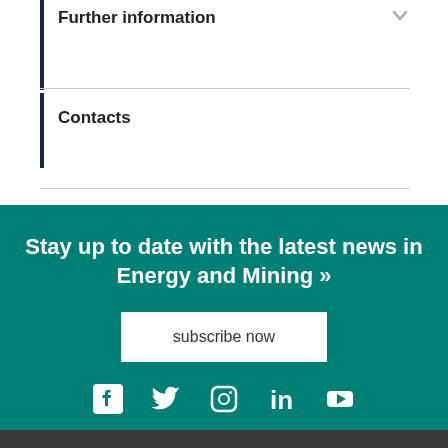Further information
Contacts
Stay up to date with the latest news in Energy and Mining »
subscribe now
[Figure (infographic): Social media icons: Facebook, Twitter, Instagram, LinkedIn, YouTube in white on teal background]